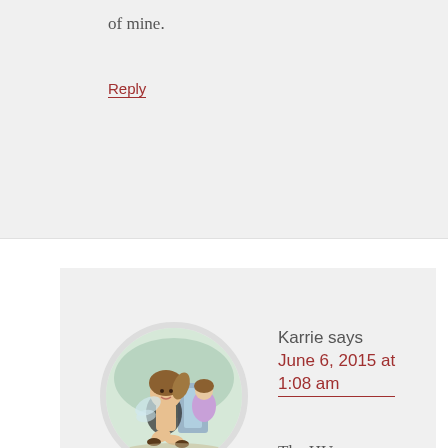of mine.
Reply
[Figure (illustration): Circular avatar image showing an illustrated fairy girl sitting down with another figure in the background]
Karrie says
June 6, 2015 at 1:08 am
The HUnger games series
Reply